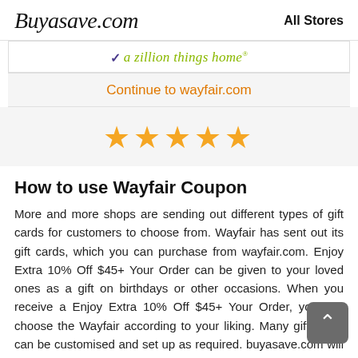Buyasave.com   All Stores
[Figure (logo): Wayfair logo with checkmark and 'a zillion things home' tagline in green italic text]
Continue to wayfair.com
[Figure (other): Five gold/yellow star rating icons]
How to use Wayfair Coupon
More and more shops are sending out different types of gift cards for customers to choose from. Wayfair has sent out its gift cards, which you can purchase from wayfair.com. Enjoy Extra 10% Off $45+ Your Order can be given to your loved ones as a gift on birthdays or other occasions. When you receive a Enjoy Extra 10% Off $45+ Your Order, you can choose the Wayfair according to your liking. Many gift cards can be customised and set up as required. buyasave.com will constantly update the information to provide higher quality Promo Codes to the guests. You can